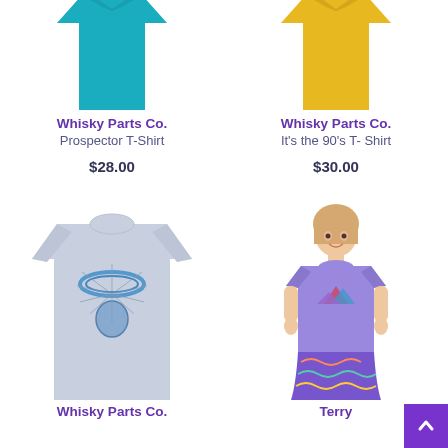[Figure (photo): Teal/turquoise t-shirt product photo, top portion visible]
Whisky Parts Co.
Prospector T-Shirt
$28.00
[Figure (photo): Yellow/golden t-shirt product photo, top portion visible]
Whisky Parts Co.
It's the 90's T- Shirt
$30.00
[Figure (photo): Light blue/grey t-shirt with illustrated hand and halo graphic design]
Whisky Parts Co.
[Figure (photo): Woman wearing lavender/purple t-shirt with mountain graphic and colorful skirt]
Terry